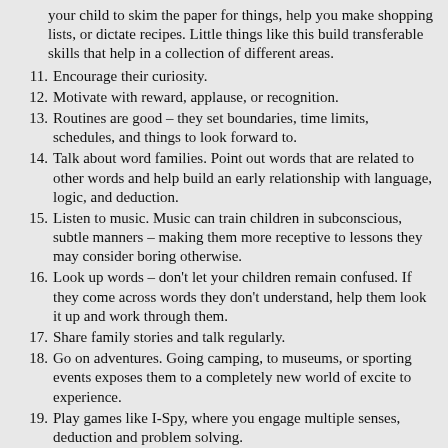(continuation) your child to skim the paper for things, help you make shopping lists, or dictate recipes. Little things like this build transferable skills that help in a collection of different areas.
11. Encourage their curiosity.
12. Motivate with reward, applause, or recognition.
13. Routines are good – they set boundaries, time limits, schedules, and things to look forward to.
14. Talk about word families. Point out words that are related to other words and help build an early relationship with language, logic, and deduction.
15. Listen to music. Music can train children in subconscious, subtle manners – making them more receptive to lessons they may consider boring otherwise.
16. Look up words – don't let your children remain confused. If they come across words they don't understand, help them look it up and work through them.
17. Share family stories and talk regularly.
18. Go on adventures. Going camping, to museums, or sporting events exposes them to a completely new world of excite to experience.
19. Play games like I-Spy, where you engage multiple senses, deduction and problem solving.